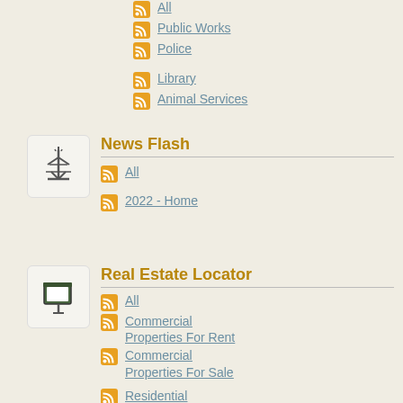All
Public Works
Police
Library
Animal Services
News Flash
All
2022 - Home
Real Estate Locator
All
Commercial Properties For Rent
Commercial Properties For Sale
Residential Properties For Rent
Residential